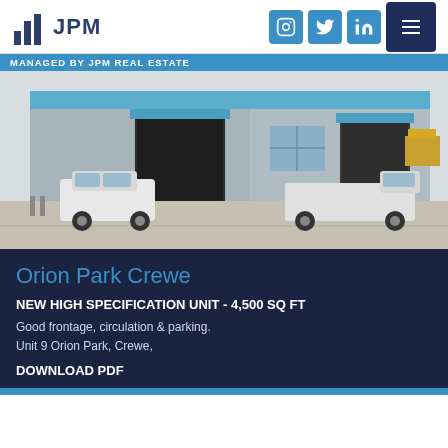[Figure (logo): JPM Real Estate logo with bar chart icon and JPM text]
[Figure (infographic): Social media icons: Instagram, Twitter, LinkedIn, and hamburger menu — blue square buttons]
MANAGED BY JPM REAL ESTATE
[Figure (photo): Industrial warehouse units with blue roller shutter doors, white SUV and white flatbed truck parked outside on concrete forecourt]
Orion Park Crewe
NEW HIGH SPECIFICATION UNIT - 4,500 SQ FT
Good frontage, circulation & parking.
Unit 9 Orion Park, Crewe,
DOWNLOAD PDF